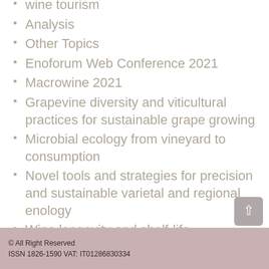wine tourism
Analysis
Other Topics
Enoforum Web Conference 2021
Macrowine 2021
Grapevine diversity and viticultural practices for sustainable grape growing
Microbial ecology from vineyard to consumption
Novel tools and strategies for precision and sustainable varietal and regional enology
Wine longevity and shelf-life
Chemical diversity of 'special' wine styles
Physiology of chemosensory
© All Right Reserved
ISSN 1826-1590 VAT: IT01286830334